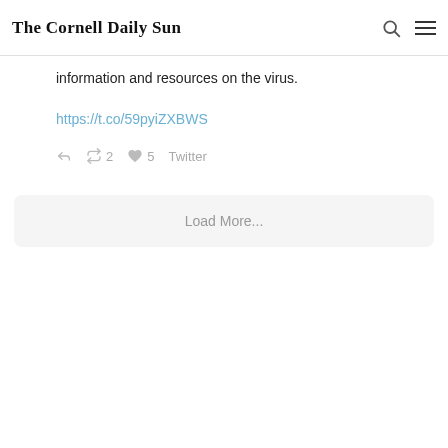The Cornell Daily Sun
information and resources on the virus.
https://t.co/59pyiZXBWS
2  5  Twitter
Load More...